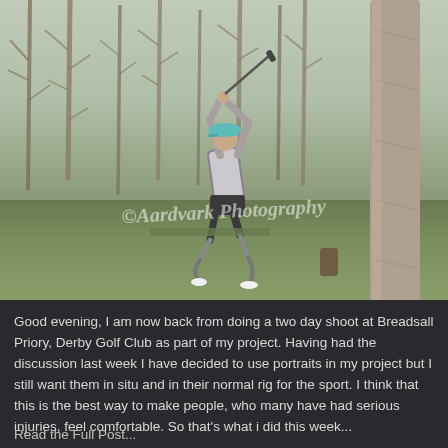[Figure (photo): A golfer with prosthetic legs mid-swing on a golf course at Breadsall Priory, Derby Golf Club. The golfer wears a teal cap, white and grey top, dark shorts, and has two prosthetic legs. Bare winter trees are in the background. A watermark reads '©Aardvark Photography'.]
Good evening, I am now back from doing a two day shoot at Breadsall Priory, Derby Golf Club as part of my project. Having had the discussion last week I have decided to use portraits in my project but I still want them in situ and in their normal rig for the sport. I think that this is the best way to make people, who many have had serious injuries, feel comfortable. So that's what i did this week...
Read the Full Post...